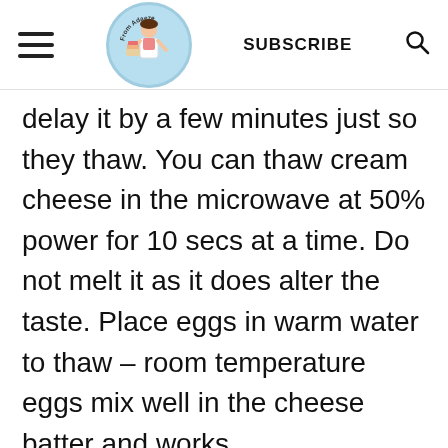From Adaeze [logo] SUBSCRIBE [search icon]
delay it by a few minutes just so they thaw. You can thaw cream cheese in the microwave at 50% power for 10 secs at a time. Do not melt it as it does alter the taste. Place eggs in warm water to thaw – room temperature eggs mix well in the cheese batter and works best for consistency.